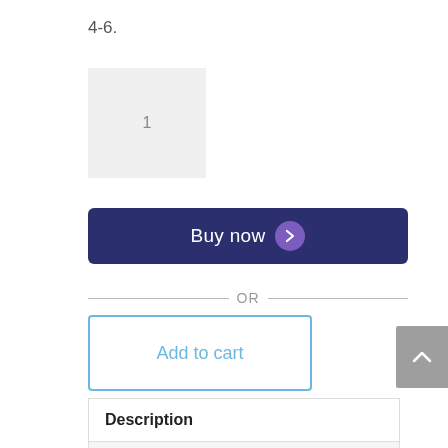4-6.
[Figure (other): Quantity input box showing the number 1]
[Figure (other): Buy now button with dark navy background and purple chevron icon]
— OR —
[Figure (other): Add to cart button with light blue border and text]
[Figure (other): Back to top button (gray, caret up icon)]
| Description |
| Reviews (0) |
|  |